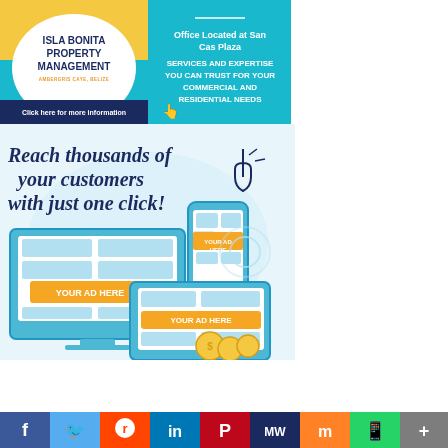[Figure (illustration): Isla Bonita Property Management advertisement banner with teal background, company logo in white circle on yellow/teal background, text about office at San Cas Plaza, services and expertise for commercial and residential needs, click here for more information CTA]
[Figure (illustration): Advertising promotion graphic: 'Reach thousands of your customers with just one click!' with illustration of desktop monitor, tablet, and mobile phone each showing 'YOUR AD HERE' placeholder with gold banners, coins, and a pointing hand cursor icon. Light blue watercolor background.]
[Figure (illustration): Social media share bar with icons for Facebook (blue), Twitter (light blue), Reddit (orange-red), LinkedIn (blue), Pinterest (red), MW (dark blue), Mix (orange), WhatsApp (green), More (gray)]